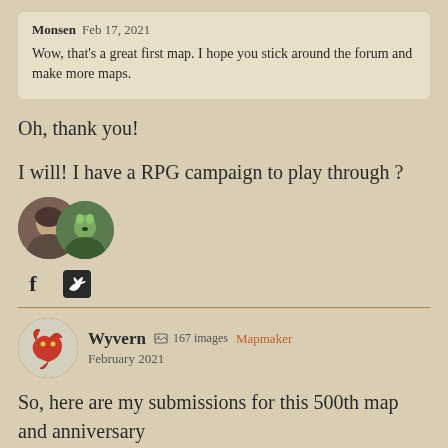Monsen  Feb 17, 2021
Wow, that's a great first map. I hope you stick around the forum and make more maps.
Oh, thank you!
I will! I have a RPG campaign to play through ?
[Figure (photo): Two overlapping circular avatar images of forum users]
[Figure (infographic): Social media icons: Facebook (f) and Twitter (bird icon)]
Wyvern  167 images  Mapmaker
February 2021
So, here are my submissions for this 500th map and anniversary